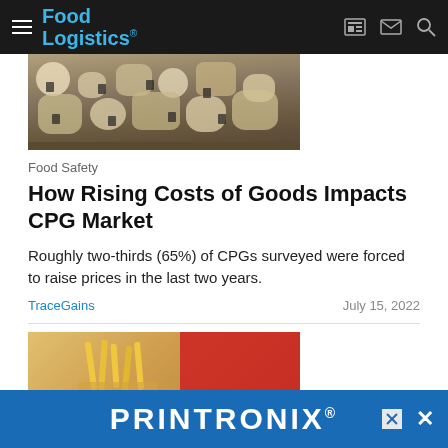Food Logistics
[Figure (photo): Display case with various cheeses on a shelf with price tags]
Food Safety
How Rising Costs of Goods Impacts CPG Market
Roughly two-thirds (65%) of CPGs surveyed were forced to raise prices in the last two years.
TraceGains | July 15, 2022
[Figure (photo): Person holding french fries in a red container, fast food setting]
[Figure (logo): PRINTRONIX advertisement banner at bottom of page]